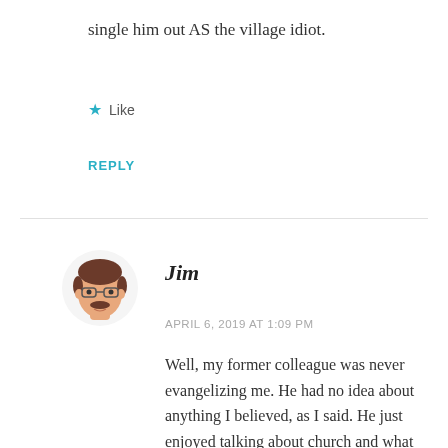single him out AS the village idiot.
★ Like
REPLY
[Figure (illustration): Illustrated avatar of a man with brown hair, glasses, and a mustache, shown from shoulders up with a light skin tone.]
Jim
APRIL 6, 2019 AT 1:09 PM
Well, my former colleague was never evangelizing me. He had no idea about anything I believed, as I said. He just enjoyed talking about church and what amazing the things the Lord had done for him. It was annoying, but that's about all. I